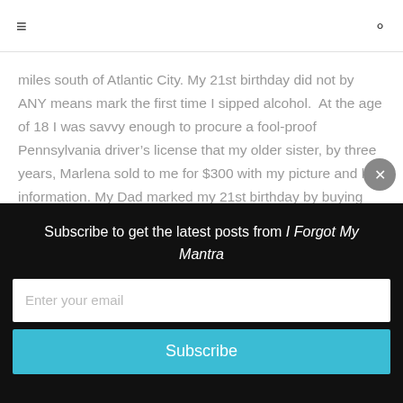≡  🔍
miles south of Atlantic City. My 21st birthday did not by ANY means mark the first time I sipped alcohol.  At the age of 18 I was savvy enough to procure a fool-proof Pennsylvania driver's license that my older sister, by three years, Marlena sold to me for $300 with my picture and her information. My Dad marked my 21st birthday by buying me a little black…
11 Comments
CONTINUE READING
Subscribe to get the latest posts from I Forgot My Mantra
Enter your email
Subscribe